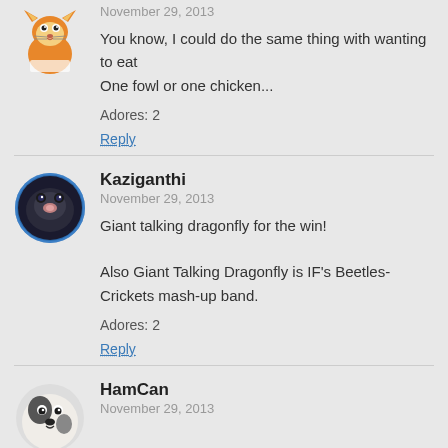[Figure (illustration): Cartoon fox avatar (small, partially cut off at top)]
November 29, 2013
You know, I could do the same thing with wanting to eat
One fowl or one chicken...
Adores: 2
Reply
[Figure (photo): Circular avatar photo of a dark animal (possibly a hamster or mole) with blue circular border]
Kaziganthi
November 29, 2013
Giant talking dragonfly for the win!

Also Giant Talking Dragonfly is IF's Beetles-Crickets mash-up band.
Adores: 2
Reply
[Figure (photo): Circular avatar photo of a small dog (puppy), partially cut off at bottom]
HamCan
November 29, 2013